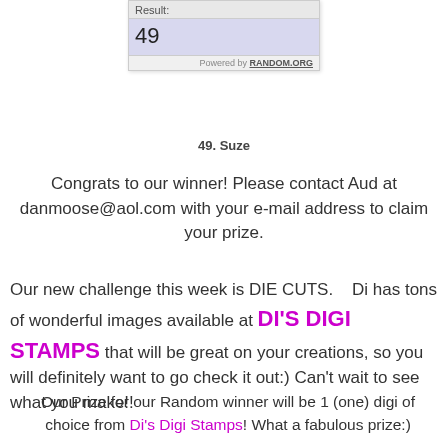[Figure (screenshot): Random.org widget showing Result: 49]
49. Suze
Congrats to our winner!  Please contact Aud at danmoose@aol.com with your e-mail address to claim your prize.
Our new challenge this week is DIE CUTS.   Di has tons of wonderful images available at DI'S DIGI STAMPS that will be great on your creations, so you will definitely want to go check it out:)  Can't wait to see what you make!!
Our Prize for our Random winner will be 1 (one) digi of choice from Di's Digi Stamps!  What a fabulous prize:)